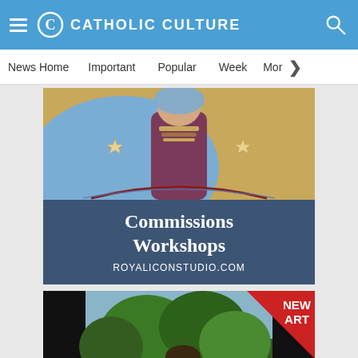CATHOLIC CULTURE
News Home   Important   Popular   Week   Mor >
[Figure (illustration): Advertisement for Royal Icon Studio showing a Byzantine-style icon of the Virgin Mary in blue robes with gold stars, and text overlay: Commissions / Workshops / ROYALICONSTUDIO.COM]
[Figure (illustration): Advertisement showing a realistic oil painting of a bearded male saint or friar seated outdoors near water with trees in background, with a red triangle 'NEW ART' badge in the top-right corner]